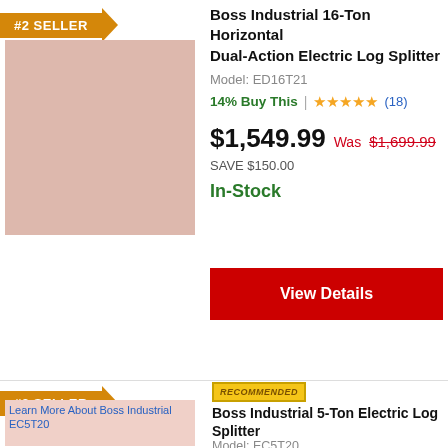#2 SELLER
Boss Industrial 16-Ton Horizontal Dual-Action Electric Log Splitter
Model: ED16T21
14% Buy This | ★★★★½ (18)
$1,549.99 Was $1,699.99
SAVE $150.00
In-Stock
[Figure (photo): Product image placeholder for Boss Industrial 16-Ton Log Splitter (pink/salmon colored rectangle)]
View Details
#3 SELLER
RECOMMENDED
Boss Industrial 5-Ton Electric Log Splitter
Model: EC5T20
[Figure (photo): Product image for Boss Industrial EC5T20 (partially visible, pink placeholder with alt text 'Learn More About Boss Industrial EC5T20')]